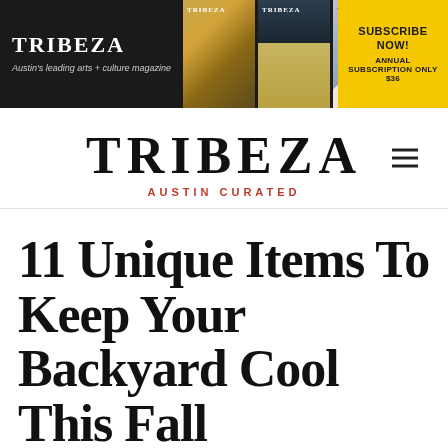[Figure (screenshot): TRIBEZA magazine banner advertisement with logo, magazine covers, and subscribe now call-to-action. Text: TRIBEZA, Austin's leading arts + culture magazine, SUBSCRIBE NOW!, ANNUAL SUBSCRIPTION ONLY $36]
TRIBEZA
AUSTIN CURATED
11 Unique Items To Keep Your Backyard Cool This Fall